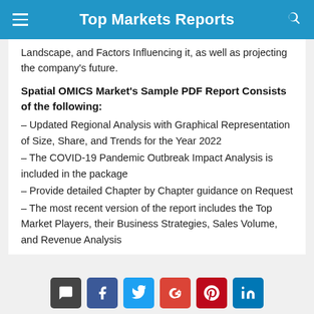Top Markets Reports
Landscape, and Factors Influencing it, as well as projecting the company's future.
Spatial OMICS Market's Sample PDF Report Consists of the following:
– Updated Regional Analysis with Graphical Representation of Size, Share, and Trends for the Year 2022
– The COVID-19 Pandemic Outbreak Impact Analysis is included in the package
– Provide detailed Chapter by Chapter guidance on Request
– The most recent version of the report includes the Top Market Players, their Business Strategies, Sales Volume, and Revenue Analysis